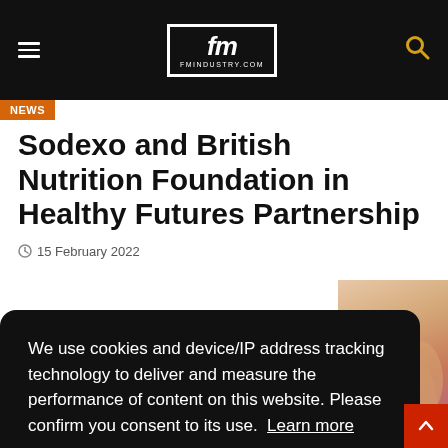fm fmindustry.com
News
Sodexo and British Nutrition Foundation in Healthy Futures Partnership
15 February 2022
We use cookies and device/IP address tracking technology to deliver and measure the performance of content on this website. Please confirm you consent to its use. Learn more
Got it
[Figure (photo): Photo of a person, partially visible on the right side of the page]